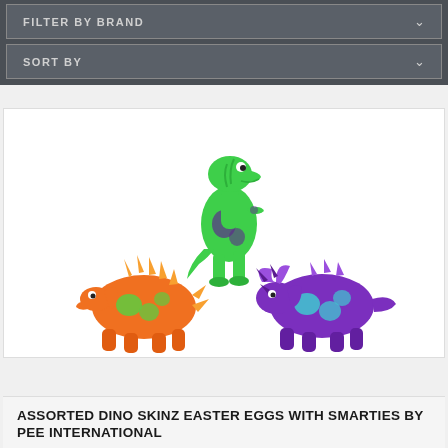FILTER BY BRAND
SORT BY
[Figure (photo): Three colorful toy dinosaur figures: a green T-Rex standing upright with purple spots, an orange stegosaurus with green spots, and a purple triceratops with teal spots. These are Dino Skinz Easter Egg toys by PEE International.]
ASSORTED DINO SKINZ EASTER EGGS WITH SMARTIES BY PEE INTERNATIONAL